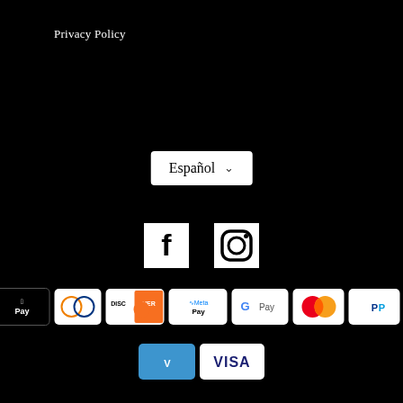Privacy Policy
[Figure (other): Language selector dropdown button showing 'Español' with a chevron/dropdown arrow]
[Figure (other): Social media icons: Facebook and Instagram logos in white on black background]
[Figure (other): Payment method icons row 1: American Express, Apple Pay, Diners Club, Discover, Meta Pay, Google Pay, Mastercard, PayPal, O Pay]
[Figure (other): Payment method icons row 2: Venmo, Visa]